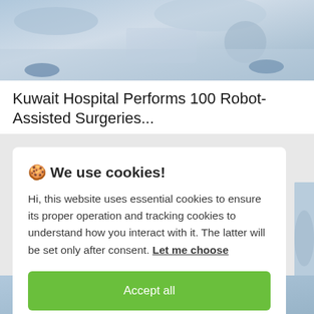[Figure (photo): Medical/surgical scene showing robot-assisted surgery equipment, viewed from above with blue surgical drapes visible]
Kuwait Hospital Performs 100 Robot-Assisted Surgeries...
🍪 We use cookies!
Hi, this website uses essential cookies to ensure its proper operation and tracking cookies to understand how you interact with it. The latter will be set only after consent. Let me choose
Accept all
Reject all